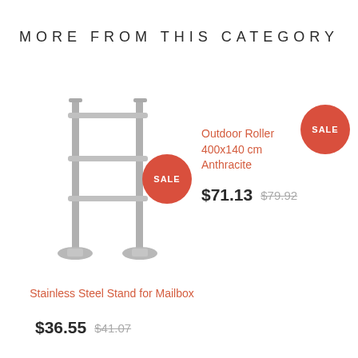MORE FROM THIS CATEGORY
[Figure (illustration): Stainless steel stand for mailbox with two horizontal rails and two vertical legs with base flanges, shown with a red SALE badge]
Stainless Steel Stand for Mailbox
$36.55  $41.07
Outdoor Roller 400x140 cm Anthracite
$71.13  $79.92